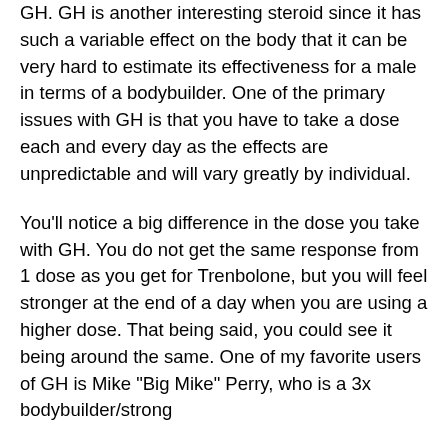GH. GH is another interesting steroid since it has such a variable effect on the body that it can be very hard to estimate its effectiveness for a male in terms of a bodybuilder. One of the primary issues with GH is that you have to take a dose each and every day as the effects are unpredictable and will vary greatly by individual.
You'll notice a big difference in the dose you take with GH. You do not get the same response from 1 dose as you get for Trenbolone, but you will feel stronger at the end of a day when you are using a higher dose. That being said, you could see it being around the same. One of my favorite users of GH is Mike "Big Mike" Perry, who is a 3x bodybuilder/strong
Similar articles:
https://www.cragireland.com/profile/courtsmoot2/profile